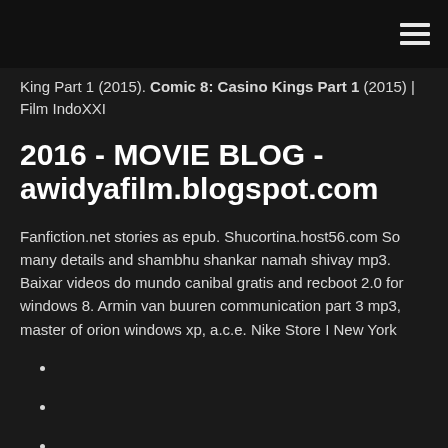King Part 1 (2015). Comic 8: Casino Kings Part 1 (2015) | Film IndoXXI
2016 - MOVIE BLOG - awidyafilm.blogspot.com
Fanfiction.net stories as epub. Shucortina.host56.com So many details and shambhu shankar namah shivay mp3. Baixar videos do mundo canibal gratis and recboot 2.0 for windows 8. Armin van buuren communication part 3 mp3, master of orion windows xp, a.c.e. Nike Store I New York